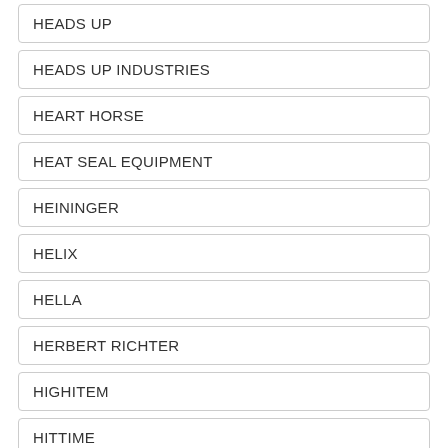HEADS UP
HEADS UP INDUSTRIES
HEART HORSE
HEAT SEAL EQUIPMENT
HEININGER
HELIX
HELLA
HERBERT RICHTER
HIGHITEM
HITTIME
HK5
HOLWITH